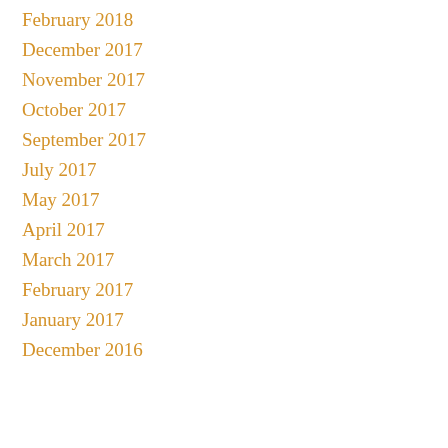February 2018
December 2017
November 2017
October 2017
September 2017
July 2017
May 2017
April 2017
March 2017
February 2017
January 2017
December 2016